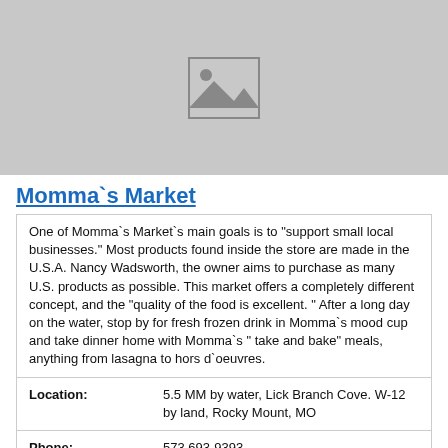[Figure (photo): Placeholder image with mountain/landscape icon on gray background]
Momma`s Market
One of Momma`s Market`s main goals is to "support small local businesses." Most products found inside the store are made in the U.S.A. Nancy Wadsworth, the owner aims to purchase as many U.S. products as possible. This market offers a completely different concept, and the "quality of the food is excellent. " After a long day on the water, stop by for fresh frozen drink in Momma`s mood cup and take dinner home with Momma`s " take and bake" meals, anything from lasagna to hors d`oeuvres.
| Location: | 5.5 MM by water, Lick Branch Cove. W-12 by land, Rocky Mount, MO |
| Phone: | 573.693-9393 |